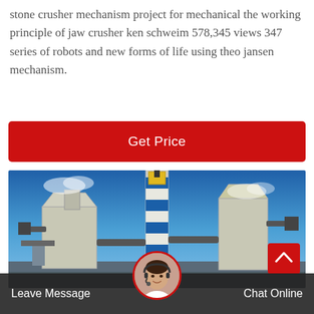stone crusher mechanism project for mechanical the working principle of jaw crusher ken schweim 578,345 views 347 series of robots and new forms of life using theo jansen mechanism.
[Figure (other): Red 'Get Price' button]
[Figure (photo): Industrial stone crusher / cement plant facility with blue and white striped central tower, flanking structures, pipes, under a blue sky]
Leave Message
Chat Online